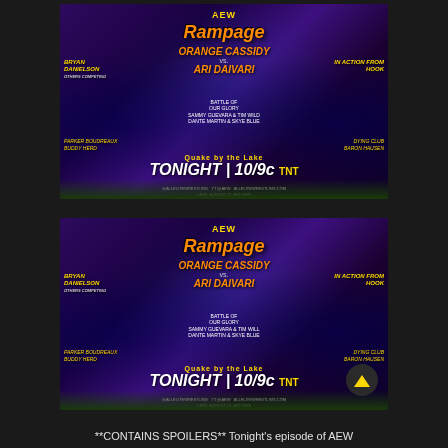[Figure (photo): AEW Rampage promotional poster featuring wrestlers including Orange Cassidy vs Ari Daivari, Bryan Danielson, Hook, and others. Text reads: TONIGHT | 10/9c TNT. Event: Quake by the Lake.]
[Figure (photo): Second identical AEW Rampage promotional poster featuring the same wrestlers. Orange Cassidy vs Ari Daivari, Bryan Danielson, Hook, Quake by the Lake. TONIGHT | 10/9c TNT. Has a scroll-to-top button overlay in bottom right.]
**CONTAINS SPOILERS** Tonight's episode of AEW